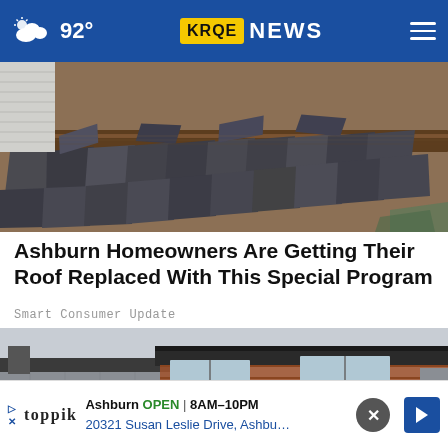92° KRQE NEWS
[Figure (photo): Close-up of damaged slate roof shingles on wooden rafters, many tiles broken, cracked, or displaced]
Ashburn Homeowners Are Getting Their Roof Replaced With This Special Program
Smart Consumer Update
[Figure (photo): Modern two-story house with flat dark roof, stone and wood horizontal siding, multiple windows, overcast sky]
Ashburn OPEN | 8AM–10PM 20321 Susan Leslie Drive, Ashbu...